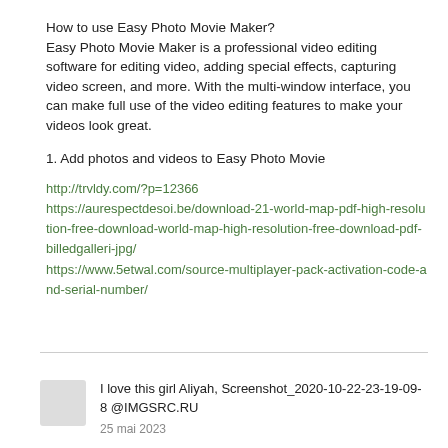How to use Easy Photo Movie Maker?
Easy Photo Movie Maker is a professional video editing software for editing video, adding special effects, capturing video screen, and more. With the multi-window interface, you can make full use of the video editing features to make your videos look great.
1. Add photos and videos to Easy Photo Movie
http://trvldy.com/?p=12366
https://aurespectdesoi.be/download-21-world-map-pdf-high-resolution-free-download-world-map-high-resolution-free-download-pdf-billedgalleri-jpg/
https://www.5etwal.com/source-multiplayer-pack-activation-code-and-serial-number/
I love this girl Aliyah, Screenshot_2020-10-22-23-19-09-8 @IMGSRC.RU
25 mai 2023